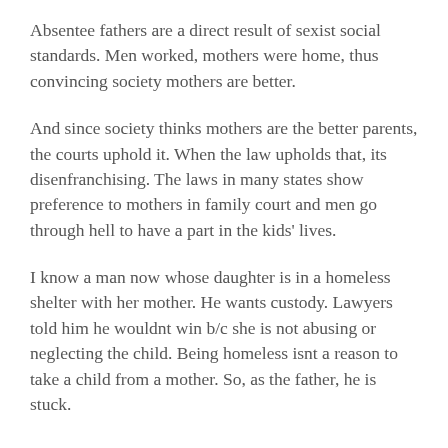Absentee fathers are a direct result of sexist social standards. Men worked, mothers were home, thus convincing society mothers are better.
And since society thinks mothers are the better parents, the courts uphold it. When the law upholds that, its disenfranchising. The laws in many states show preference to mothers in family court and men go through hell to have a part in the kids' lives.
I know a man now whose daughter is in a homeless shelter with her mother. He wants custody. Lawyers told him he wouldnt win b/c she is not abusing or neglecting the child. Being homeless isnt a reason to take a child from a mother. So, as the father, he is stuck.